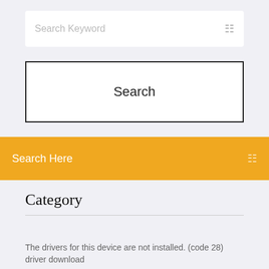Search Keyword
Search
Search Here
Category
The drivers for this device are not installed. (code 28) driver download
How to take email off my phone
Webex network recording player mac convert